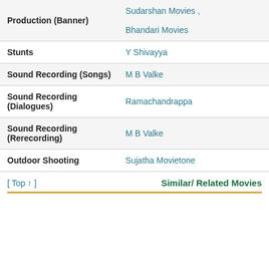| Field | Value |
| --- | --- |
| Production (Banner) | Sudarshan Movies , Bhandari Movies |
| Stunts | Y Shivayya |
| Sound Recording (Songs) | M B Valke |
| Sound Recording (Dialogues) | Ramachandrappa |
| Sound Recording (Rerecording) | M B Valke |
| Outdoor Shooting | Sujatha Movietone |
[ Top ↑ ]
Similar/ Related Movies